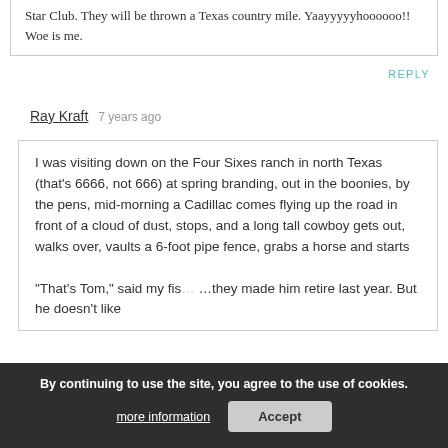Star Club. They will be thrown a Texas country mile. Yaayyyyyhoooooo!! Woe is me.
REPLY
Ray Kraft   7 years ago
I was visiting down on the Four Sixes ranch in north Texas (that's 6666, not 666) at spring branding, out in the boonies, by the pens, mid-morning a Cadillac comes flying up the road in front of a cloud of dust, stops, and a long tall cowboy gets out, walks over, vaults a 6-foot pipe fence, grabs a horse and starts
"That's Tom," said my fis... ...they made him retire last year. But he doesn't like
By continuing to use the site, you agree to the use of cookies.
more information
Accept